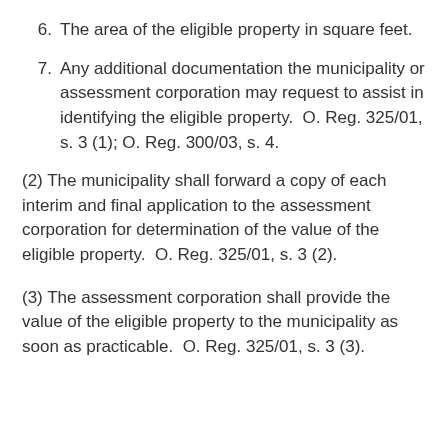6. The area of the eligible property in square feet.
7. Any additional documentation the municipality or assessment corporation may request to assist in identifying the eligible property.  O. Reg. 325/01, s. 3 (1); O. Reg. 300/03, s. 4.
(2) The municipality shall forward a copy of each interim and final application to the assessment corporation for determination of the value of the eligible property.  O. Reg. 325/01, s. 3 (2).
(3) The assessment corporation shall provide the value of the eligible property to the municipality as soon as practicable.  O. Reg. 325/01, s. 3 (3).